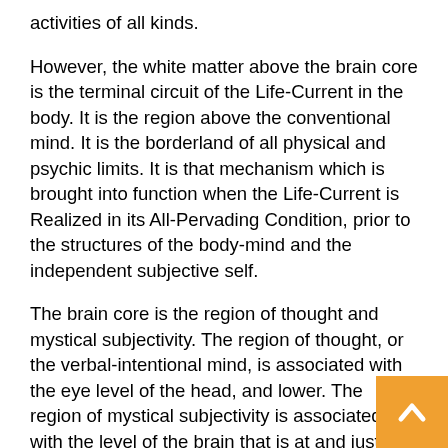activities of all kinds.
However, the white matter above the brain core is the terminal circuit of the Life-Current in the body. It is the region above the conventional mind. It is the borderland of all physical and psychic limits. It is that mechanism which is brought into function when the Life-Current is Realized in its All-Pervading Condition, prior to the structures of the body-mind and the independent subjective self.
The brain core is the region of thought and mystical subjectivity. The region of thought, or the verbal-intentional mind, is associated with the eye level of the head, and lower. The region of mystical subjectivity is associated with the level of the brain that is at and just above the brows.
The region of mind associated with the functions brain at and somewhat above the brows is the ge... region of the "third eye" and the mystical dimension...
[Figure (other): Orange back-to-top button with upward-pointing chevron arrow in bottom-right corner]